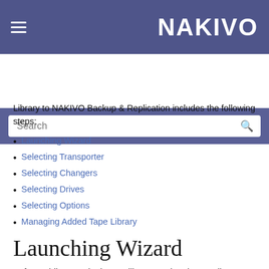NAKIVO
Library to NAKIVO Backup & Replication includes the following steps:
Launching Wizard
Selecting Transporter
Selecting Changers
Selecting Drives
Selecting Options
Managing Added Tape Library
Launching Wizard
Before adding a Robotic tape library or Virtual Tape Library, make sure that the on-premises VM or Amazon EC2 instance meets the necessary feature requirements.